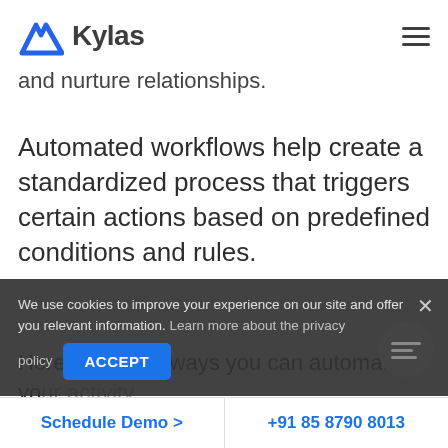[Figure (logo): Kylas CRM logo with blue mountain/wave icon and bold grey 'Kylas' text]
and nurture relationships.
Automated workflows help create a standardized process that triggers certain actions based on predefined conditions and rules.
Here are some ways you can automate your [content obscured] using Kylas-
We use cookies to improve your experience on our site and offer you relevant information. Learn more about the privacy policy
Schedule Demo >    +91 85 8790 8013